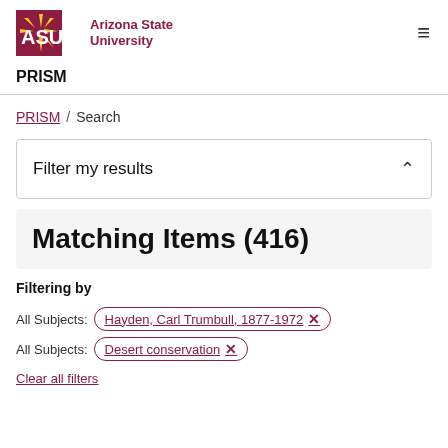[Figure (logo): Arizona State University ASU logo with sunburst and text]
PRISM
PRISM / Search
Filter my results
Matching Items (416)
Filtering by
All Subjects: Hayden, Carl Trumbull, 1877-1972 ×
All Subjects: Desert conservation ×
Clear all filters